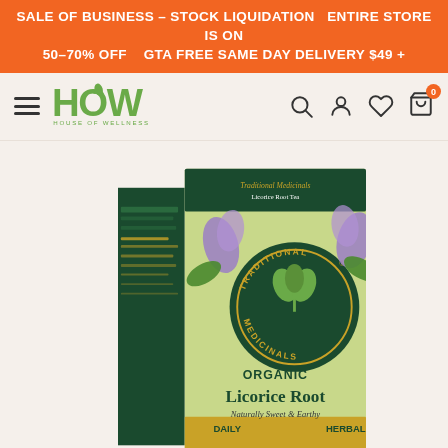SALE OF BUSINESS – STOCK LIQUIDATION  ENTIRE STORE IS ON 50–70% OFF   GTA FREE SAME DAY DELIVERY $49 +
[Figure (logo): House of Wellness (HOW) logo with navigation bar including hamburger menu, search, account, wishlist, and cart icons]
[Figure (photo): Traditional Medicinals Organic Licorice Root herbal tea box — Daily Herbal, Naturally Sweet & Earthy, with purple flowers and green leaves imagery]